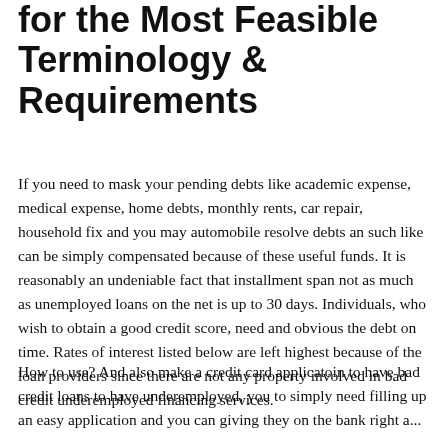Terminology & Requirements
If you need to mask your pending debts like academic expense, medical expense, home debts, monthly rents, car repair, household fix and you may automobile resolve debts an such like can be simply compensated because of these useful funds. It is reasonably an undeniable fact that installment span not as much as unemployed loans on the net is up to 30 days. Individuals, who wish to obtain a good credit score, need and obvious the debt on time. Rates of interest listed below are left highest because of the loan providers since there are not any property involved in bad credit underemployed financing services.
How to use? And also make a credit card applicatoin to have bad credit loans to have underemployed, you to simply need filling up an easy application and you can giving they on the bank right a...